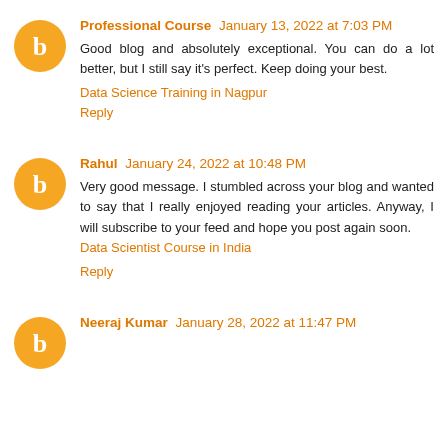Professional Course  January 13, 2022 at 7:03 PM
Good blog and absolutely exceptional. You can do a lot better, but I still say it's perfect. Keep doing your best.
Data Science Training in Nagpur
Reply
Rahul  January 24, 2022 at 10:48 PM
Very good message. I stumbled across your blog and wanted to say that I really enjoyed reading your articles. Anyway, I will subscribe to your feed and hope you post again soon.
Data Scientist Course in India
Reply
Neeraj Kumar  January 28, 2022 at 11:47 PM